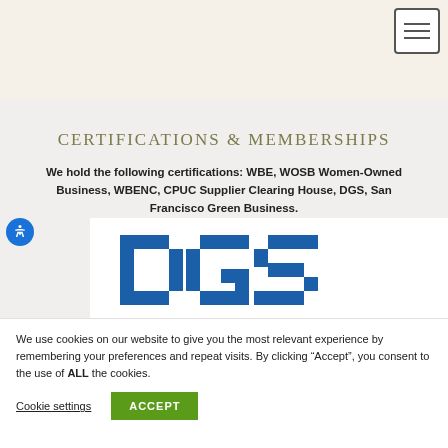[Figure (screenshot): Top beige header bar with a hamburger menu icon (three horizontal lines) in a square button at the top right corner.]
CERTIFICATIONS & MEMBERSHIPS
We hold the following certifications: WBE, WOSB Women-Owned Business, WBENC, CPUC Supplier Clearing House, DGS, San Francisco Green Business.
[Figure (logo): DGS logo in blue block letters on white background, partially visible.]
We use cookies on our website to give you the most relevant experience by remembering your preferences and repeat visits. By clicking “Accept”, you consent to the use of ALL the cookies.
Cookie settings    ACCEPT